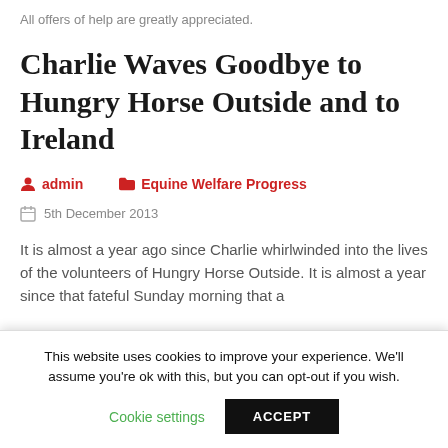All offers of help are greatly appreciated.
Charlie Waves Goodbye to Hungry Horse Outside and to Ireland
admin   Equine Welfare Progress
5th December 2013
It is almost a year ago since Charlie whirlwinded into the lives of the volunteers of Hungry Horse Outside. It is almost a year since that fateful Sunday morning that a
This website uses cookies to improve your experience. We'll assume you're ok with this, but you can opt-out if you wish.